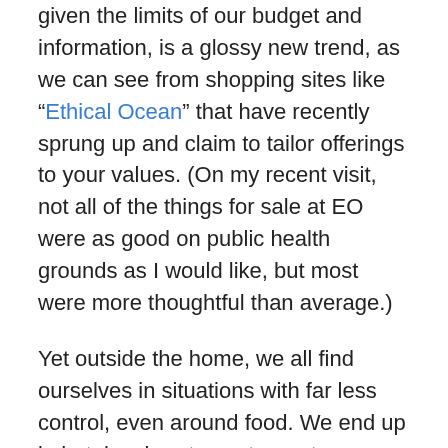given the limits of our budget and information, is a glossy new trend, as we can see from shopping sites like “Ethical Ocean” that have recently sprung up and claim to tailor offerings to your values. (On my recent visit, not all of the things for sale at EO were as good on public health grounds as I would like, but most were more thoughtful than average.)
Yet outside the home, we all find ourselves in situations with far less control, even around food. We end up in hotels, airports, restaurants — spaces, which appear cold, impersonal and impervious to our desires for a better way of being in the world. I’ll often take a minute at the start of a conversation with a waiter to send them back to the kitchen with a pointed question — one that risks comparisons from colleagues to that truly hilarious Portlandia episode in which they track down the